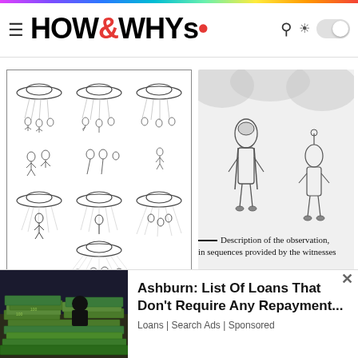HOW&WHYs
[Figure (illustration): Sequential illustration showing UFO/flying saucer abduction scenes in a 3x3 grid arrangement, showing discs beaming up humanoid figures in multiple stages, signed at bottom right]
[Figure (illustration): Illustration of two alien/humanoid figures standing, one taller wearing a helmet-like head piece and shorts, against a light outdoor background]
—— Description of the observation, in sequences provided by the witnesses
—— Description of the observation,
[Figure (photo): Photo of stacked currency/money bills on a table in a dark room]
Ashburn: List Of Loans That Don't Require Any Repayment...
Loans | Search Ads | Sponsored